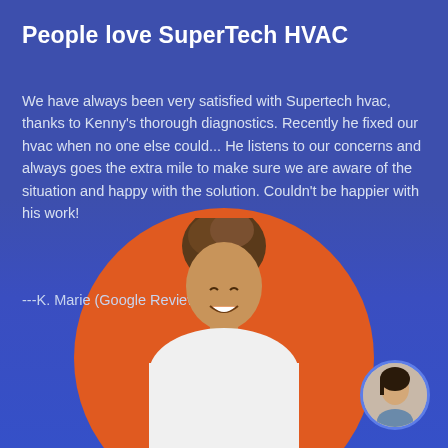People love SuperTech HVAC
We have always been very satisfied with Supertech hvac, thanks to Kenny's thorough diagnostics. Recently he fixed our hvac when no one else could... He listens to our concerns and always goes the extra mile to make sure we are aware of the situation and happy with the solution. Couldn't be happier with his work!
---K. Marie (Google Review)
[Figure (photo): Photo of a smiling woman with hair up, wearing white top, looking down, placed over an orange arc/circle background element at the bottom center of the image. A small circular avatar photo of another person is in the bottom right corner.]